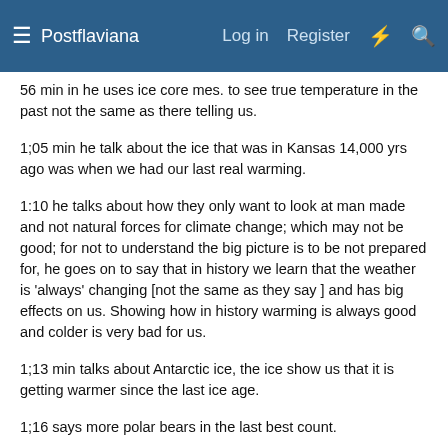Postflaviana  Log in  Register
56 min in he uses ice core mes. to see true temperature in the past not the same as there telling us.
1;05 min he talk about the ice that was in Kansas 14,000 yrs ago was when we had our last real warming.
1:10 he talks about how they only want to look at man made and not natural forces for climate change; which may not be good; for not to understand the big picture is to be not prepared for, he goes on to say that in history we learn that the weather is 'always' changing [not the same as they say ] and has big effects on us. Showing how in history warming is always good and colder is very bad for us.
1;13 min talks about Antarctic ice, the ice show us that it is getting warmer since the last ice age.
1;16 says more polar bears in the last best count.